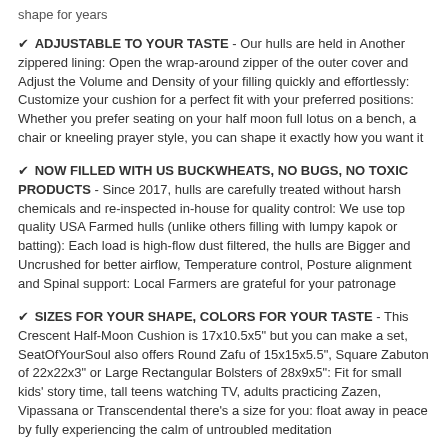shape for years
✔ ADJUSTABLE TO YOUR TASTE - Our hulls are held in Another zippered lining: Open the wrap-around zipper of the outer cover and Adjust the Volume and Density of your filling quickly and effortlessly: Customize your cushion for a perfect fit with your preferred positions: Whether you prefer seating on your half moon full lotus on a bench, a chair or kneeling prayer style, you can shape it exactly how you want it
✔ NOW FILLED WITH US BUCKWHEATS, NO BUGS, NO TOXIC PRODUCTS - Since 2017, hulls are carefully treated without harsh chemicals and re-inspected in-house for quality control: We use top quality USA Farmed hulls (unlike others filling with lumpy kapok or batting): Each load is high-flow dust filtered, the hulls are Bigger and Uncrushed for better airflow, Temperature control, Posture alignment and Spinal support: Local Farmers are grateful for your patronage
✔ SIZES FOR YOUR SHAPE, COLORS FOR YOUR TASTE - This Crescent Half-Moon Cushion is 17x10.5x5" but you can make a set, SeatOfYourSoul also offers Round Zafu of 15x15x5.5", Square Zabuton of 22x22x3" or Large Rectangular Bolsters of 28x9x5": Fit for small kids' story time, tall teens watching TV, adults practicing Zazen, Vipassana or Transcendental there's a size for you: float away in peace by fully experiencing the calm of untroubled meditation
Share